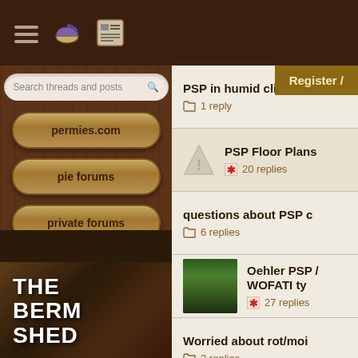permies.com forum navigation header
Search threads and posts
permies.com
pie forums
private forums
all forums
[Figure (photo): THE BERM SHED - person standing in log cabin structure]
Register /
PSP in humid climate,
1 reply
PSP Floor Plans
20 replies
questions about PSP c
6 replies
[Figure (photo): Forest/wooded path photo]
Oehler PSP / WOFATI ty
27 replies
Worried about rot/moi
3 replies